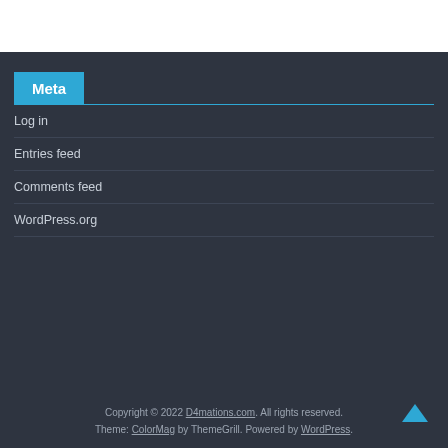Meta
Log in
Entries feed
Comments feed
WordPress.org
Copyright © 2022 D4mations.com. All rights reserved. Theme: ColorMag by ThemeGrill. Powered by WordPress.